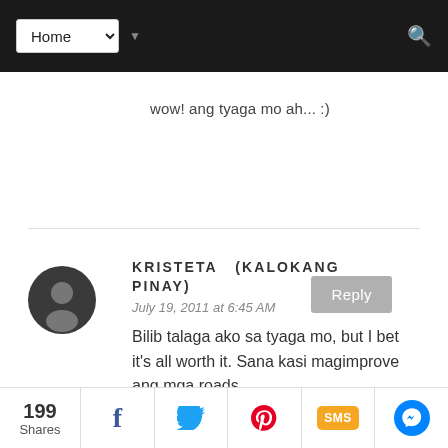Home (navigation bar with Home dropdown and search icon)
wow! ang tyaga mo ah... :)
Reply
KRISTETA (KALOKANG PINAY)
July 19, 2011 at 6:45 AM
Bilib talaga ako sa tyaga mo, but I bet it's all worth it. Sana kasi magimprove ang mga roads
199 Shares